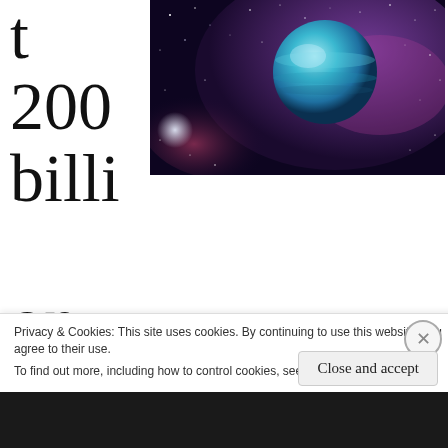t 200 billion
[Figure (photo): Space photograph showing a blue planet or gas giant against a dark starfield with colorful nebula in purple and pink tones]
galaxies each containing a billion trillion stars. Astronomers estimate there are at least that many planets. They figure not every star
Privacy & Cookies: This site uses cookies. By continuing to use this website, you agree to their use.
To find out more, including how to control cookies, see here: Cookie Policy
Close and accept